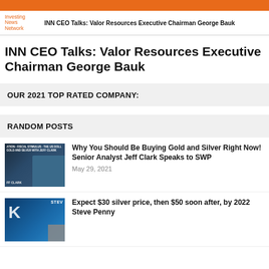INN CEO Talks: Valor Resources Executive Chairman George Bauk
INN CEO Talks: Valor Resources Executive Chairman George Bauk
OUR 2021 TOP RATED COMPANY:
RANDOM POSTS
[Figure (photo): Thumbnail image for article about buying gold and silver with Jeff Clark]
Why You Should Be Buying Gold and Silver Right Now! Senior Analyst Jeff Clark Speaks to SWP
May 29, 2021
[Figure (photo): Thumbnail image for article about silver price with Steve Penny, showing a K letter and two people]
Expect $30 silver price, then $50 soon after, by 2022 Steve Penny